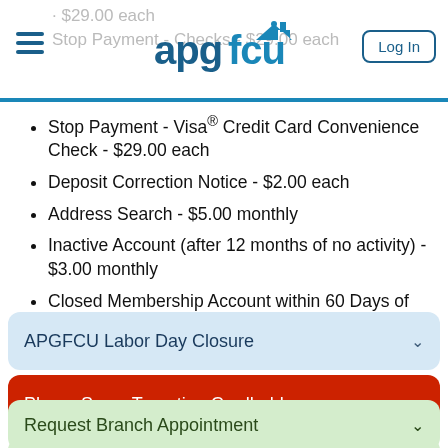apgfcu - Log In
Stop Payment - Visa® Credit Card Convenience Check - $29.00 each
Deposit Correction Notice - $2.00 each
Address Search - $5.00 monthly
Inactive Account (after 12 months of no activity) - $3.00 monthly
Closed Membership Account within 60 Days of Opening - $15.00
APGFCU Labor Day Closure
Phone Scam Targeting Cardholders
Request Branch Appointment